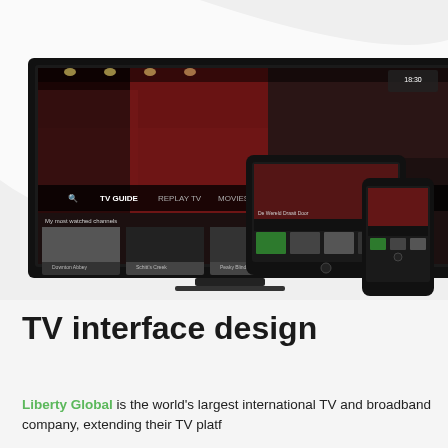[Figure (screenshot): Three devices (large TV/monitor, tablet, smartphone) all showing the same TV streaming interface with a dark theme, displaying TV guide, replay TV, movies & series navigation and content thumbnails. Background is light grey with a subtle curved white swoosh shape.]
TV interface design
Liberty Global is the world's largest international TV and broadband company, extending their TV platform